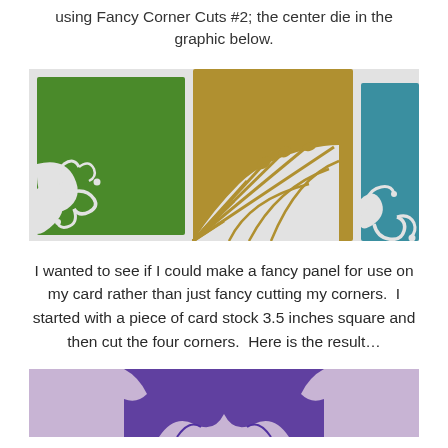using Fancy Corner Cuts #2; the center die in the graphic below.
[Figure (illustration): Three corner die cut designs shown side by side: left is green with curling vine/floral corner cut, center is gold/tan with fan/shell corner cut, right is teal/blue with scroll corner cut, all on a light gray background.]
I wanted to see if I could make a fancy panel for use on my card rather than just fancy cutting my corners.  I started with a piece of card stock 3.5 inches square and then cut the four corners.  Here is the result…
[Figure (photo): Partial photo showing a purple card stock piece with fancy corner cuts applied to all four corners, creating a decorative panel shape.]